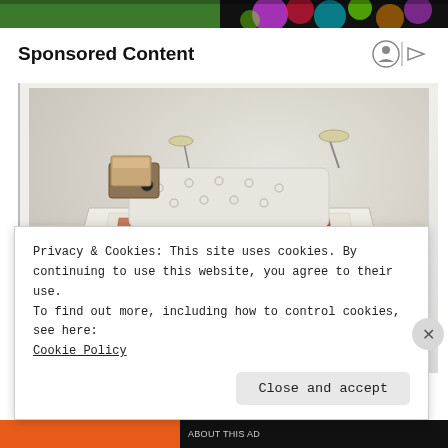[Figure (photo): Top colorful banner strip with green and pink/rainbow colors at the top of the page]
Sponsored Content
[Figure (photo): A large multi-functional smart bed with cream/beige leather upholstery, built-in speakers, a chaise lounge, storage drawers, a laptop stand, and various accessories. The bed has an elaborate design with multiple compartments and features.]
Privacy & Cookies: This site uses cookies. By continuing to use this website, you agree to their use.
To find out more, including how to control cookies, see here:
Cookie Policy
Close and accept
[Figure (other): Bottom dark and orange banner bar with small text]